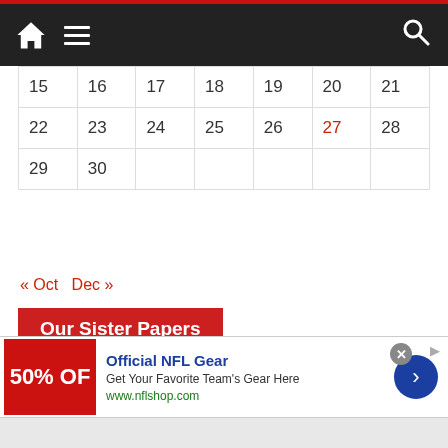Navigation bar with home, menu, and search icons
| 15 | 16 | 17 | 18 | 19 | 20 | 21 |
| 22 | 23 | 24 | 25 | 26 | 27 | 28 |
| 29 | 30 |  |  |  |  |  |
« Oct   Dec »
Our Sister Papers
The Business Post
The Irish Loop Post
[Figure (infographic): Advertisement banner: Official NFL Gear — Get Your Favorite Team's Gear Here, www.nflshop.com, with 50% OFF promo image and blue arrow button. Close button (x) shown.]